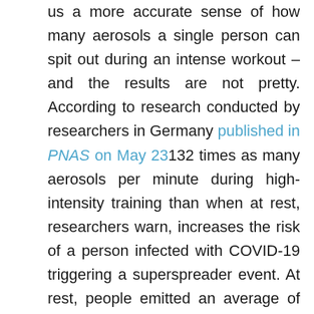us a more accurate sense of how many aerosols a single person can spit out during an intense workout – and the results are not pretty. According to research conducted by researchers in Germany published in PNAS on May 23132 times as many aerosols per minute during high-intensity training than when at rest, researchers warn, increases the risk of a person infected with COVID-19 triggering a superspreader event. At rest, people emitted an average of 580 particles per minute, but during maximal training – where researchers gradually increased the intensity until the subjects were